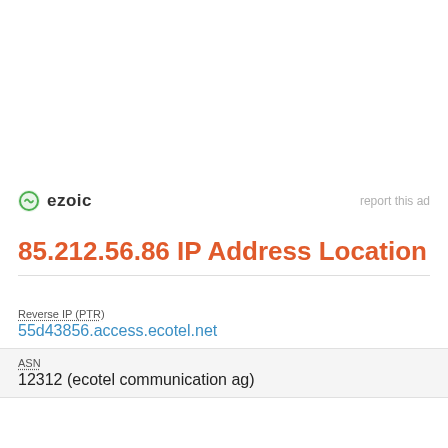[Figure (logo): Ezoic logo with green circular icon and bold text 'ezoic', with 'report this ad' text on the right]
85.212.56.86 IP Address Location
| Reverse IP (PTR) | 55d43856.access.ecotel.net |
| ASN | 12312 (ecotel communication ag) |